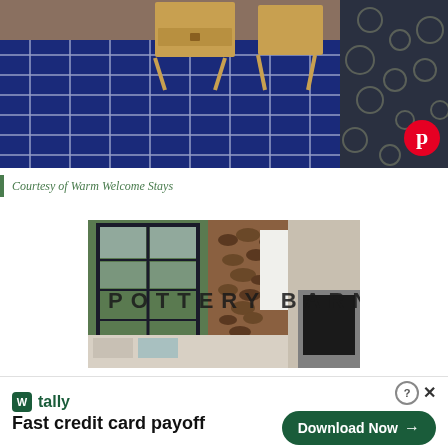[Figure (photo): A navy blue patterned rug on a bedroom floor with wicker furniture and a floral bedspread visible]
Courtesy of Warm Welcome Stays
[Figure (photo): Pottery Barn advertisement showing a living room with black-framed glass doors, stacked firewood, and a fireplace]
[Figure (other): Tally app advertisement: Fast credit card payoff with Download Now button]